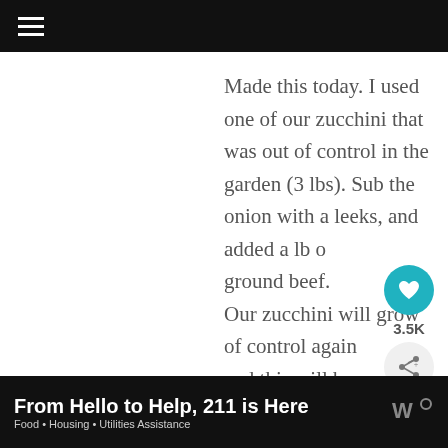≡ (hamburger menu)
Made this today. I used one of our zucchini that was out of control in the garden (3 lbs). Sub the onion with a leeks, and added a lb of ground beef.
Our zucchini will grow out of control again and this will be our yummy remedy
From Hello to Help, 211 is Here
Food • Housing • Utilities Assistance